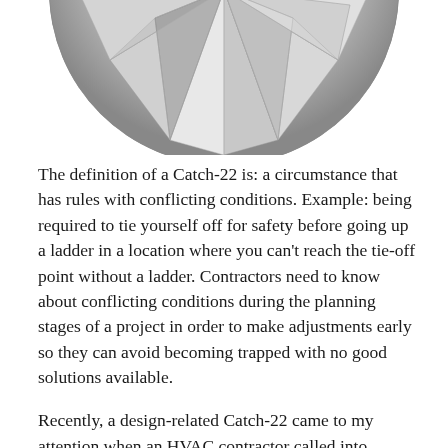[Figure (photo): Partial view of a metallic decorative circular object with faceted triangular mirror-like surfaces, cropped at the top of the page]
The definition of a Catch-22 is: a circumstance that has rules with conflicting conditions. Example: being required to tie yourself off for safety before going up a ladder in a location where you can't reach the tie-off point without a ladder. Contractors need to know about conflicting conditions during the planning stages of a project in order to make adjustments early so they can avoid becoming trapped with no good solutions available.
Recently, a design-related Catch-22 came to my attention when an HVAC contractor called into ACCA. He had just completed a multi-family new homes project that had been approved and certified by